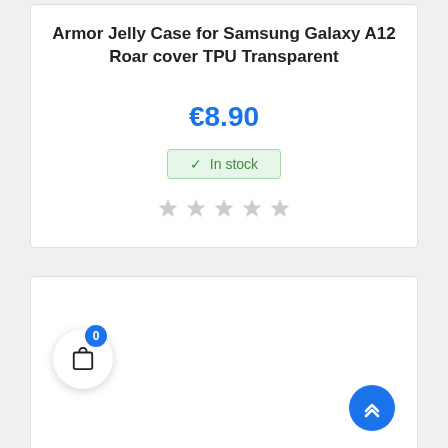Armor Jelly Case for Samsung Galaxy A12 Roar cover TPU Transparent
€8.90
✓ In stock
[Figure (illustration): Five empty (grey) star rating icons in a row]
[Figure (illustration): Shopping cart icon with badge showing 0, and a blue scroll-to-top button with chevron-up arrows]